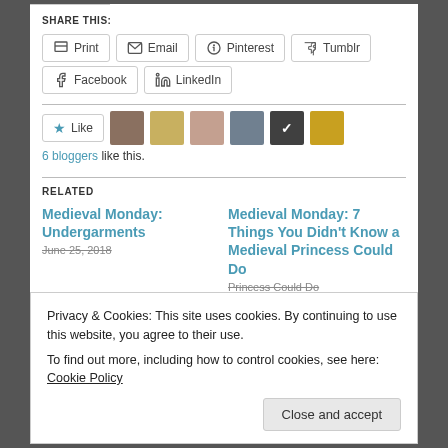SHARE THIS:
Print | Email | Pinterest | Tumblr | Facebook | LinkedIn
6 bloggers like this.
RELATED
Medieval Monday: Undergarments — June 25, 2018
Medieval Monday: 7 Things You Didn't Know a Medieval Princess Could Do
Privacy & Cookies: This site uses cookies. By continuing to use this website, you agree to their use.
To find out more, including how to control cookies, see here: Cookie Policy
Close and accept